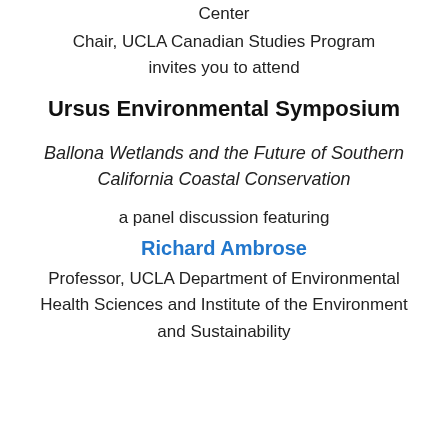Center
Chair, UCLA Canadian Studies Program
invites you to attend
Ursus Environmental Symposium
Ballona Wetlands and the Future of Southern California Coastal Conservation
a panel discussion featuring
Richard Ambrose
Professor, UCLA Department of Environmental Health Sciences and Institute of the Environment and Sustainability